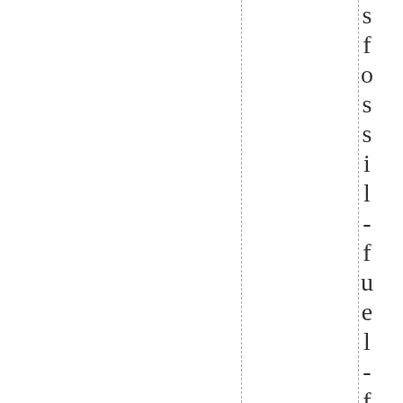fossil-fuel-focused strategies